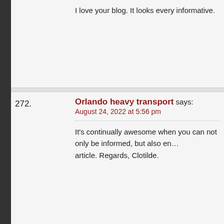I love your blog. It looks every informative.
272. Orlando heavy transport says:
August 24, 2022 at 5:56 pm
It's continually awesome when you can not only be informed, but also en... article. Regards, Clotilde.
273. Fort smith dental says:
August 24, 2022 at 6:01 pm
I'm so happy to read this. This is the type of manual that needs to be giv... the other blogs. Appreciate your sharing this best doc.
274. marine upholstery vinyl says: